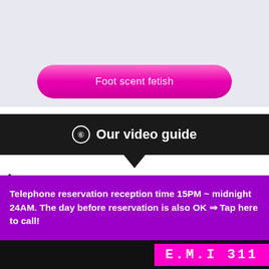[Figure (screenshot): Light gray-blue background section with a pink gradient pill-shaped button labeled 'Foot scent fetish']
⑥  Our video guide
① Video guide about BODY TO BODY EROTIC MASSAGE
Telephone reservation reception time 15PM ~ midnight 24AM. The day before reservation is also OK ⇒ Tap here to call!
E.M.I 311